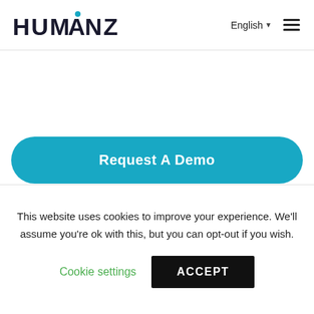HUMANZ | English | Menu
[Figure (screenshot): Blank white content area between header and demo button]
Request A Demo
This website uses cookies to improve your experience. We'll assume you're ok with this, but you can opt-out if you wish.
Cookie settings
ACCEPT